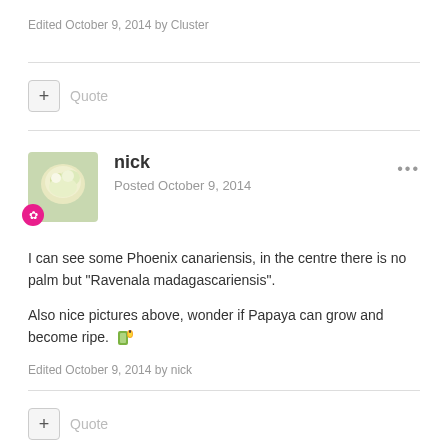Edited October 9, 2014 by Cluster
Quote
nick
Posted October 9, 2014
I can see some Phoenix canariensis, in the centre there is no palm but "Ravenala madagascariensis".
Also nice pictures above, wonder if Papaya can grow and become ripe.
Edited October 9, 2014 by nick
Quote